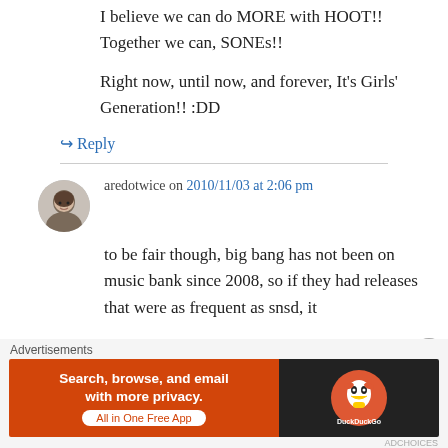I believe we can do MORE with HOOT!! Together we can, SONEs!!
Right now, until now, and forever, It's Girls' Generation!! :DD
↵ Reply
aredotwice on 2010/11/03 at 2:06 pm
to be fair though, big bang has not been on music bank since 2008, so if they had releases that were as frequent as snsd, it
Advertisements
[Figure (other): DuckDuckGo advertisement banner: orange background with text 'Search, browse, and email with more privacy. All in One Free App' and DuckDuckGo logo on dark background]